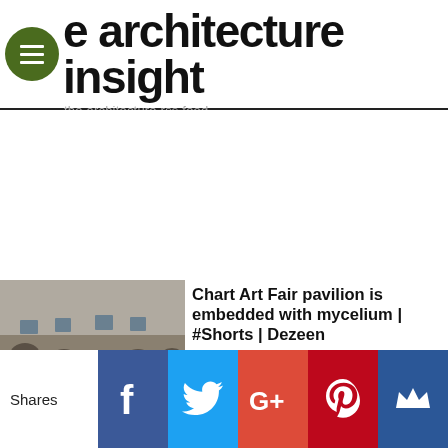the architecture insight
the architecture rss feed
[Figure (photo): Thumbnail image of a historic building with arched colonnade, stone facade in black and white]
Chart Art Fair pavilion is embedded with mycelium | #Shorts | Dezeen
Architects Nikolaj Emil Svenningsen, Sean Lyon and Søs Christine Heiselbæk have created a pavilion wrapped in textiles embedded with mycelium at Chart Art Fair, which was captured in this short video produced as part of the Dezeen x Chart Art Fair...
01-09-2022 22:04 . ( architecture TV )
Shares